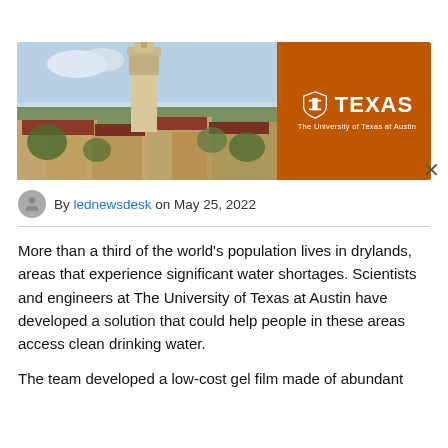[Figure (photo): Banner image: left side shows aerial photo of The University of Texas at Austin campus with the UT Tower prominently visible; right side is a burnt orange panel with the UT shield logo and 'TEXAS / The University of Texas at Austin' text in white.]
By lednewsdesk on May 25, 2022
More than a third of the world's population lives in drylands, areas that experience significant water shortages. Scientists and engineers at The University of Texas at Austin have developed a solution that could help people in these areas access clean drinking water.
The team developed a low-cost gel film made of abundant materials that can collect water from the air in even the driest...